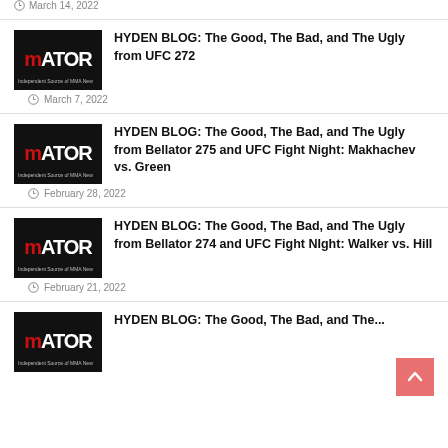March 14, 2022
HYDEN BLOG: The Good, The Bad, and The Ugly from UFC 272
March 7, 2022
HYDEN BLOG: The Good, The Bad, and The Ugly from Bellator 275 and UFC Fight Night: Makhachev vs. Green
February 28, 2022
HYDEN BLOG: The Good, The Bad, and The Ugly from Bellator 274 and UFC Fight NIght: Walker vs. Hill
February 21, 2022
HYDEN BLOG: The Good, The Bad, and The...